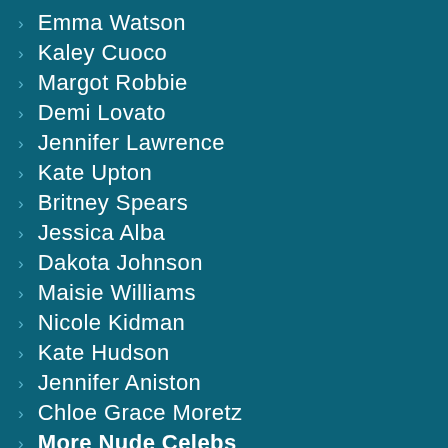Emma Watson
Kaley Cuoco
Margot Robbie
Demi Lovato
Jennifer Lawrence
Kate Upton
Britney Spears
Jessica Alba
Dakota Johnson
Maisie Williams
Nicole Kidman
Kate Hudson
Jennifer Aniston
Chloe Grace Moretz
More Nude Celebs